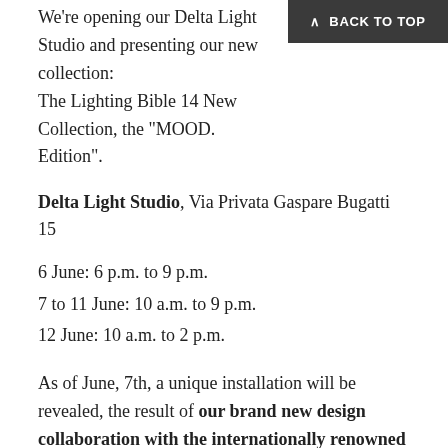We're opening our Delta Light Studio and presenting our new collection:
The Lighting Bible 14 New Collection, the "MOOD. Edition".
^ BACK TO TOP
Delta Light Studio, Via Privata Gaspare Bugatti 15
6 June: 6 p.m. to 9 p.m.
7 to 11 June: 10 a.m. to 9 p.m.
12 June: 10 a.m. to 2 p.m.
As of June, 7th, a unique installation will be revealed, the result of our brand new design collaboration with the internationally renowned MVRDV architects.
PREREGISTER FOR YOUR VISIT >
WHAT ELSE?